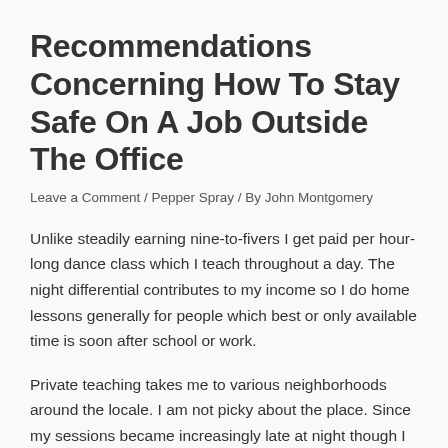Recommendations Concerning How To Stay Safe On A Job Outside The Office
Leave a Comment / Pepper Spray / By John Montgomery
Unlike steadily earning nine-to-fivers I get paid per hour-long dance class which I teach throughout a day. The night differential contributes to my income so I do home lessons generally for people which best or only available time is soon after school or work.
Private teaching takes me to various neighborhoods around the locale. I am not picky about the place. Since my sessions became increasingly late at night though I started to search through pepper spray like Mace for sale online for protection.